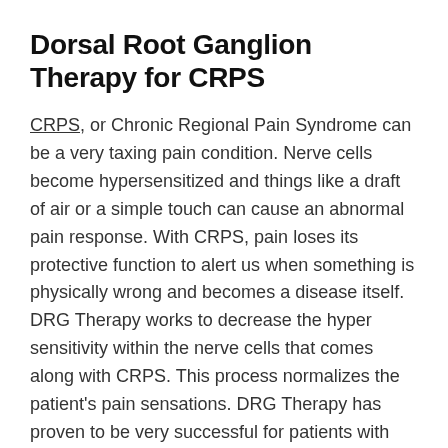Dorsal Root Ganglion Therapy for CRPS
CRPS, or Chronic Regional Pain Syndrome can be a very taxing pain condition. Nerve cells become hypersensitized and things like a draft of air or a simple touch can cause an abnormal pain response. With CRPS, pain loses its protective function to alert us when something is physically wrong and becomes a disease itself. DRG Therapy works to decrease the hyper sensitivity within the nerve cells that comes along with CRPS. This process normalizes the patient's pain sensations. DRG Therapy has proven to be very successful for patients with CRPS. One study compared DRG Therapy to Spinal Cord Stimulation Therapy in patients with CRPS. 70%-80% of the patients had 80% pain relief with DRG Therapy